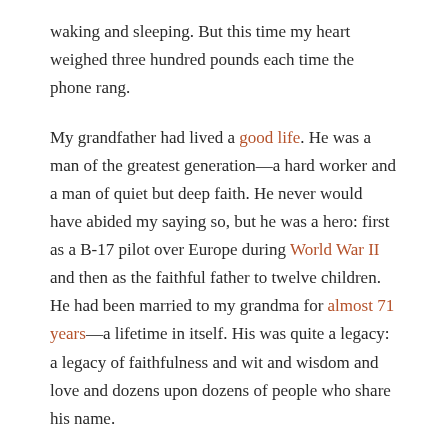waking and sleeping. But this time my heart weighed three hundred pounds each time the phone rang.
My grandfather had lived a good life. He was a man of the greatest generation—a hard worker and a man of quiet but deep faith. He never would have abided my saying so, but he was a hero: first as a B-17 pilot over Europe during World War II and then as the faithful father to twelve children. He had been married to my grandma for almost 71 years—a lifetime in itself. His was quite a legacy: a legacy of faithfulness and wit and wisdom and love and dozens upon dozens of people who share his name.
And now he was ready to go home. I kissed his cheek last Sunday, aware that it would likely be the last